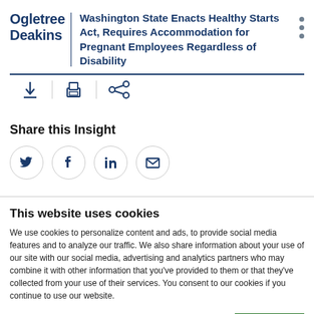[Figure (logo): Ogletree Deakins law firm logo in dark blue]
Washington State Enacts Healthy Starts Act, Requires Accommodation for Pregnant Employees Regardless of Disability
[Figure (infographic): Toolbar with download, print, and share/link icons]
Share this Insight
[Figure (infographic): Social sharing icons: Twitter, Facebook, LinkedIn, Email]
This website uses cookies
We use cookies to personalize content and ads, to provide social media features and to analyze our traffic. We also share information about your use of our site with our social media, advertising and analytics partners who may combine it with other information that you've provided to them or that they've collected from your use of their services. You consent to our cookies if you continue to use our website.
[Figure (infographic): Cookie consent OK button and checkboxes for Necessary, Preferences, Statistics with Show dropdown]